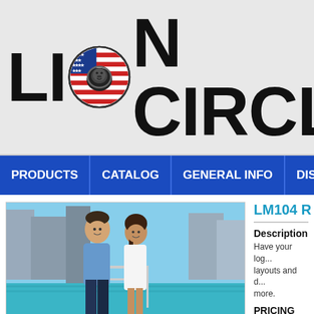[Figure (logo): Lion Circle logo with lion head inside circular American flag design, bold text reading LION CIRCLE]
PRODUCTS | CATALOG | GENERAL INFO | DISTRIBU...
[Figure (photo): A man in a light blue shirt and a woman in a white dress posing together outdoors near water with city buildings in background]
LM104 R...
Description
Have your log... layouts and d... more.
PRICING
| Quantity (P... |
| --- |
| 20 Mil Indo... Digital |